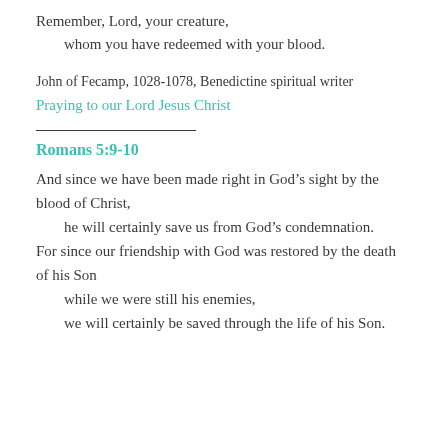Remember, Lord, your creature,
whom you have redeemed with your blood.
John of Fecamp, 1028-1078, Benedictine spiritual writer
Praying to our Lord Jesus Christ
Romans 5:9-10
And since we have been made right in God’s sight by the blood of Christ,
    he will certainly save us from God’s condemnation.
For since our friendship with God was restored by the death of his Son
    while we were still his enemies,
    we will certainly be saved through the life of his Son.